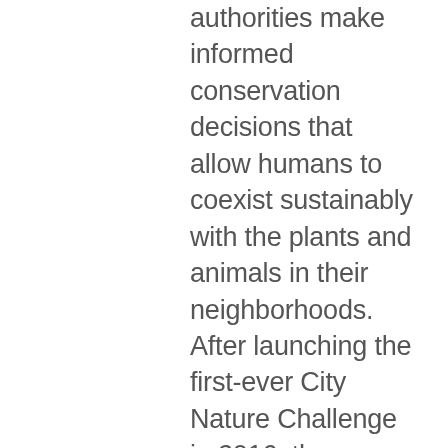authorities make informed conservation decisions that allow humans to coexist sustainably with the plants and animals in their neighborhoods. After launching the first-ever City Nature Challenge in 2016, the Natural History Museum of Los Angeles County and California Academy of Sciences are hosting their fifth—and most collaborative—effort. The inaugural challenge invited participants from Los Angeles and San Francisco to observe and submit pictures of wildlife they encountered using iNaturalist. By the end of that inaugural weekend, over 1,000 participants submitted more than